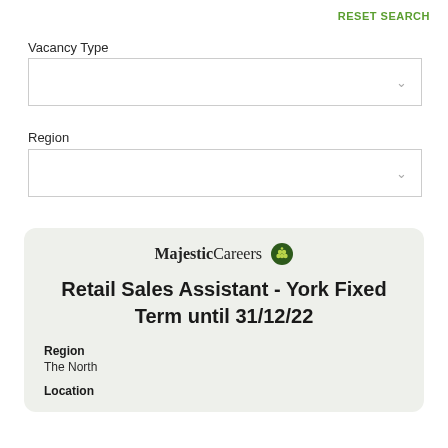RESET SEARCH
Vacancy Type
Region
[Figure (screenshot): Job listing card for Majestic Careers showing a role: Retail Sales Assistant - York Fixed Term until 31/12/22, Region: The North, Location label visible]
Retail Sales Assistant - York Fixed Term until 31/12/22
Region
The North
Location